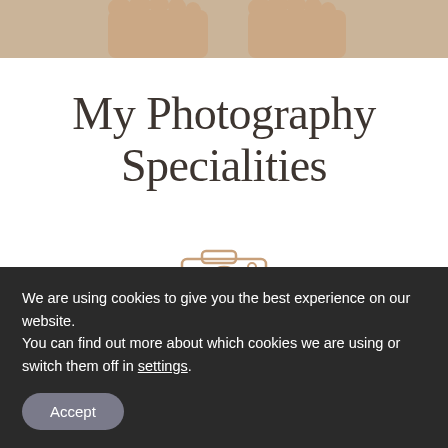[Figure (photo): Top strip showing sandy beach with bare feet visible at top of frame]
My Photography Specialities
[Figure (illustration): Camera icon outline in rose-gold/tan color]
PORTRAITS
We are using cookies to give you the best experience on our website.
You can find out more about which cookies we are using or switch them off in settings.
Accept